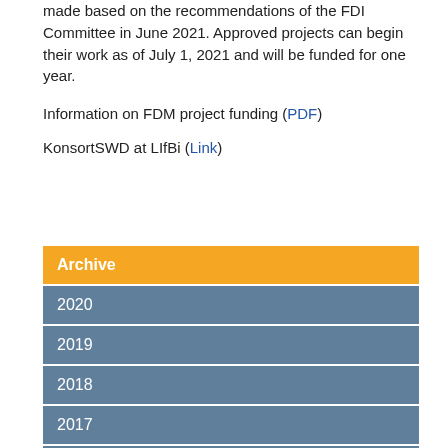made based on the recommendations of the FDI Committee in June 2021. Approved projects can begin their work as of July 1, 2021 and will be funded for one year.
Information on FDM project funding (PDF)
KonsortSWD at LIfBi (Link)
Archive
2020
2019
2018
2017
2016
2015
2014
2013